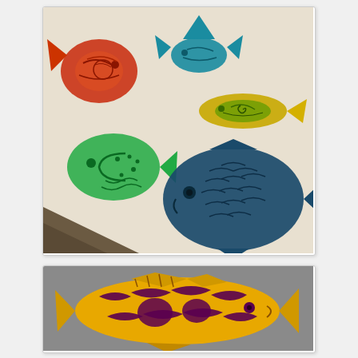[Figure (photo): A photograph of colorful fish block prints on white fabric or paper. Multiple fish prints in various colors: red/orange fish (upper left), teal/blue fish (upper center), yellow/green fish (upper right), bright green fish (lower left), and dark teal/navy large fish (lower right). Each fish has distinct patterns and textures carved into the print block. A dark cardboard piece is visible in the lower left corner of the photo.]
[Figure (photo): A photograph of a single large fish block print or carved piece in yellow/gold and dark purple/maroon colors. The fish is detailed with scales, fins, and intricate patterns. It appears to be a carved rubber or linoleum block print piece, cut out and placed on a gray surface.]